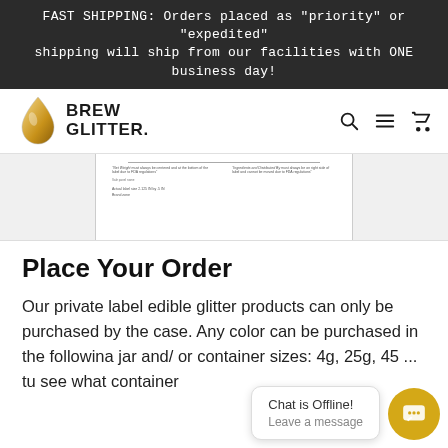FAST SHIPPING: Orders placed as "priority" or "expedited" shipping will ship from our facilities with ONE business day!
[Figure (logo): Brew Glitter logo with a drop/glass icon and bold text reading BREW GLITTER, plus navigation icons (search, menu, cart)]
[Figure (screenshot): Partial view of a product label document showing label layout guidelines with small text about Net Weight placement and Ingredients placement per FDA regulations, and panel size dimensions.]
Place Your Order
Our private label edible glitter products can only be purchased by the case. Any color can be purchased in the following jar and/ or container sizes: 4g, 25g, 45... see what container
[Figure (screenshot): Chat widget overlay showing 'Chat is Offline! Leave a message' with a gold circular chat icon button]